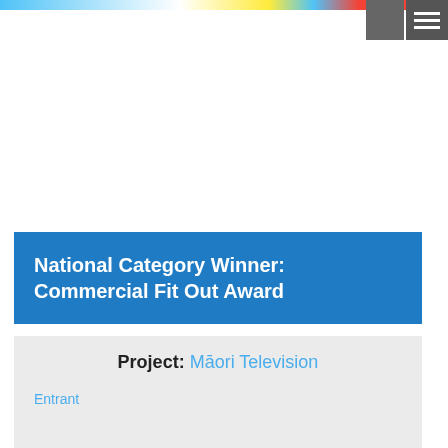National Category Winner: Commercial Fit Out Award
Project: Māori Television
Entrant